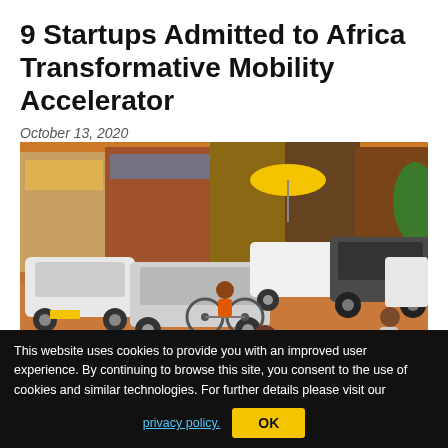9 Startups Admitted to Africa Transformative Mobility Accelerator
October 13, 2020
[Figure (photo): A busy street scene in an African city (Kenya/Uganda) showing pedestrians, cyclists, and cars on a red-dirt road, with shops visible in the background and a yellow umbrella stand.]
Nine startups based in Kenya and Uganda will go through a six-month
This website uses cookies to provide you with an improved user experience. By continuing to browse this site, you consent to the use of cookies and similar technologies. For further details please visit our
privacy policy.